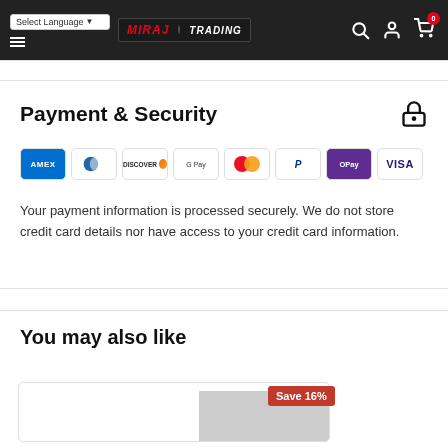Select Language | MIRAJ TRADING
Payment & Security
[Figure (infographic): Payment method badges: AMEX, Diners Club, Discover, Google Pay, Mastercard, PayPal, OPay, VISA]
Your payment information is processed securely. We do not store credit card details nor have access to your credit card information.
You may also like
[Figure (infographic): Save 16% promotional badge on product card]